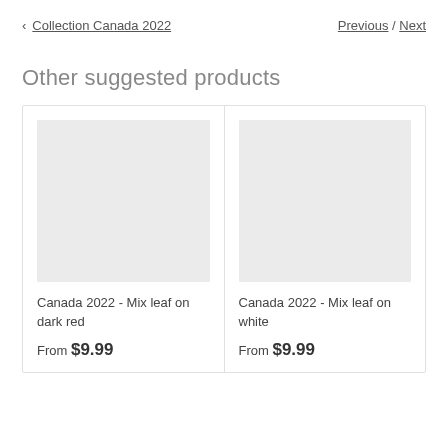< Collection Canada 2022    Previous / Next
Other suggested products
[Figure (photo): Product image placeholder (light grey rectangle) for Canada 2022 - Mix leaf on dark red]
Canada 2022 - Mix leaf on dark red
From $9.99
[Figure (photo): Product image placeholder (light grey rectangle) for Canada 2022 - Mix leaf on white]
Canada 2022 - Mix leaf on white
From $9.99